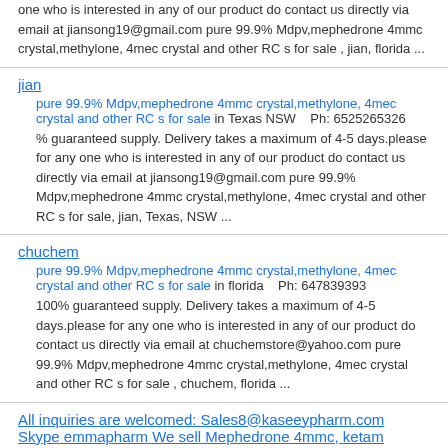one who is interested in any of our product do contact us directly via email at jiansong19@gmail.com pure 99.9% Mdpv,mephedrone 4mmc crystal,methylone, 4mec crystal and other RC s for sale , jian, florida ...
jian
pure 99.9% Mdpv,mephedrone 4mmc crystal,methylone, 4mec crystal and other RC s for sale in Texas NSW    Ph: 6525265326
% guaranteed supply. Delivery takes a maximum of 4-5 days.please for any one who is interested in any of our product do contact us directly via email at jiansong19@gmail.com pure 99.9% Mdpv,mephedrone 4mmc crystal,methylone, 4mec crystal and other RC s for sale, jian, Texas, NSW ...
chuchem
pure 99.9% Mdpv,mephedrone 4mmc crystal,methylone, 4mec crystal and other RC s for sale in florida    Ph: 647839393
100% guaranteed supply. Delivery takes a maximum of 4-5 days.please for any one who is interested in any of our product do contact us directly via email at chuchemstore@yahoo.com pure 99.9% Mdpv,mephedrone 4mmc crystal,methylone, 4mec crystal and other RC s for sale , chuchem, florida ...
All inquiries are welcomed: Sales8@kaseeypharm.com Skype emmapharm We sell Mephedrone 4mmc, ketam
Skype emmapharm We sell Mephedrone 4mmc, ketamine, Mdpv, mdma crystal, A-PVP, methylone bk-md in Jackass Flat VIC
All inquiries are welcomed: Sales8@kaseeypharm.com Skype emmapharm